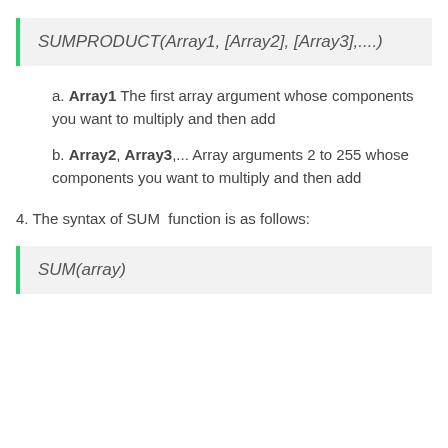a. Array1 The first array argument whose components you want to multiply and then add
b. Array2, Array3,... Array arguments 2 to 255 whose components you want to multiply and then add
4. The syntax of SUM  function is as follows: